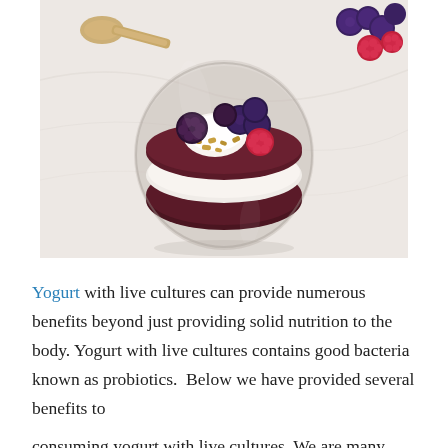[Figure (photo): Overhead view of a glass jar filled with layered yogurt parfait — dark berry layers, white yogurt, topped with fresh blueberries, raspberries, blackberries, and granola. A wooden spoon is visible in the upper left corner. Additional raspberries and blueberries are scattered in the upper right. Background is white/light marble surface.]
Yogurt with live cultures can provide numerous benefits beyond just providing solid nutrition to the body. Yogurt with live cultures contains good bacteria known as probiotics.  Below we have provided several benefits to consuming yogurt with live cultures. We are many years...